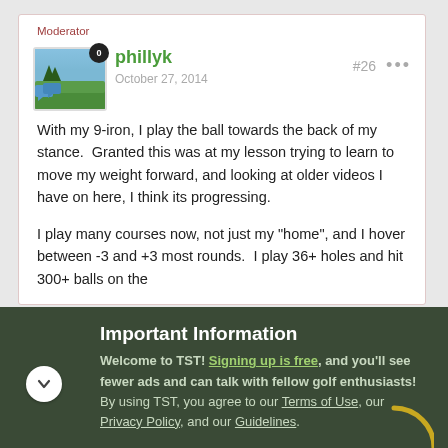Moderator
phillyk
October 27, 2014
With my 9-iron, I play the ball towards the back of my stance.  Granted this was at my lesson trying to learn to move my weight forward, and looking at older videos I have on here, I think its progressing.
I play many courses now, not just my "home", and I hover between -3 and +3 most rounds.  I play 36+ holes and hit 300+ balls on the
Important Information
Welcome to TST! Signing up is free, and you'll see fewer ads and can talk with fellow golf enthusiasts! By using TST, you agree to our Terms of Use, our Privacy Policy, and our Guidelines.